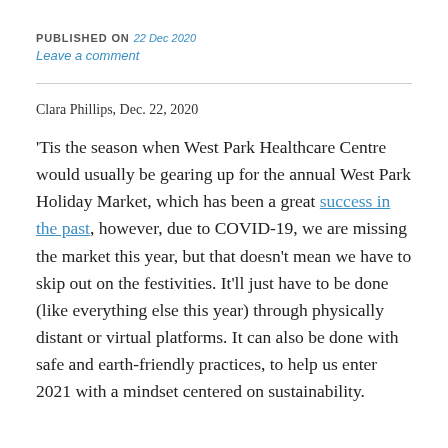PUBLISHED ON 22 Dec 2020
Leave a comment
Clara Phillips, Dec. 22, 2020
'Tis the season when West Park Healthcare Centre would usually be gearing up for the annual West Park Holiday Market, which has been a great success in the past, however, due to COVID-19, we are missing the market this year, but that doesn't mean we have to skip out on the festivities. It'll just have to be done (like everything else this year) through physically distant or virtual platforms. It can also be done with safe and earth-friendly practices, to help us enter 2021 with a mindset centered on sustainability.